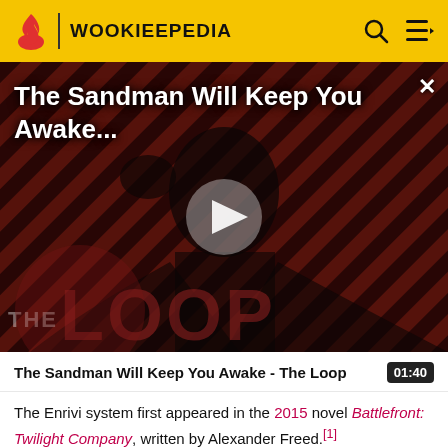WOOKIEEPEDIA
[Figure (screenshot): Video thumbnail showing a dark-cloaked figure against a diagonal red and black striped background. Title overlay reads 'The Sandman Will Keep You Awake...' with a play button in the center. 'THE LOOP' watermark text appears at lower left.]
The Sandman Will Keep You Awake - The Loop
The Enrivi system first appeared in the 2015 novel Battlefront: Twilight Company, written by Alexander Freed.[1]